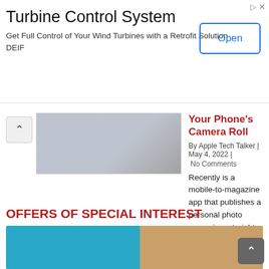[Figure (screenshot): Advertisement banner for Turbine Control System with Open button]
Turbine Control System
Get Full Control of Your Wind Turbines with a Retrofit Solution DEIF
[Figure (screenshot): Partial article thumbnail image with back-to-top arrow]
Your Phone's Camera Roll
By Apple Tech Talker | May 4, 2022 | No Comments
Recently is a mobile-to-magazine app that publishes a personal photo magazine, straight from an iPhone. A true time-saver, in mere seconds Recently creates a collection-worthy magazine printed on luxurious archival … Continue Reading...
1 2 … 23 Next
OFFERS OF SPECIAL INTEREST
[Figure (photo): Partial promotional image with teal and wood-tone sections]